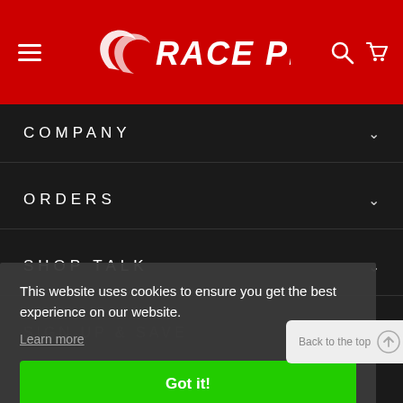Race Place — site header with hamburger menu, logo, search and cart icons
COMPANY
ORDERS
SHOP TALK
SIGN UP & SAVE
RACE PLACE CARE
This website uses cookies to ensure you get the best experience on our website. Learn more
Got it!
Back to the top
© 2024 RACE PLACE INC. ALL RIGHTS RESERVED